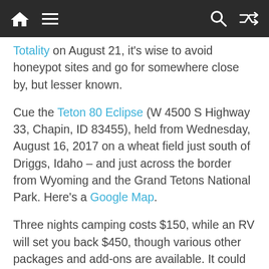[Navigation bar with home, menu, search, and shuffle icons]
Totality on August 21, it's wise to avoid honeypot sites and go for somewhere close by, but lesser known.
Cue the Teton 80 Eclipse (W 4500 S Highway 33, Chapin, ID 83455), held from Wednesday, August 16, 2017 on a wheat field just south of Driggs, Idaho – and just across the border from Wyoming and the Grand Tetons National Park. Here's a Google Map.
Three nights camping costs $150, while an RV will set you back $450, though various other packages and add-ons are available. It could be ideal if you're planning to take in some of the Grand Tetons (it's only 40 minutes drive from Jackson, Wyoming in the Grand Tetons National Park) or